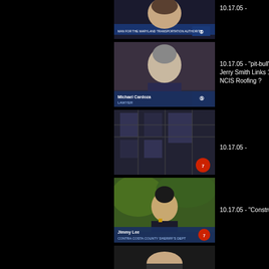[Figure (screenshot): TV news screenshot: man speaking, CBS 5 lower third 'MAN FOR THE MARYLAND TRANSPORTATION AUTHORITY']
10.17.05 -
[Figure (screenshot): TV news screenshot: Michael Cardoza, Lawyer, CBS 5]
10.17.05 - "pit-bull" Jerry Smith Links 1 NCIS Roofing ?
[Figure (screenshot): TV news screenshot: building exterior, ABC 7 logo]
10.17.05 -
[Figure (screenshot): TV news screenshot: Jimmy Lee, Contra Costa County Sheriff's Dept, ABC 7]
10.17.05 - "Constru
[Figure (screenshot): TV news screenshot: partial, woman visible]